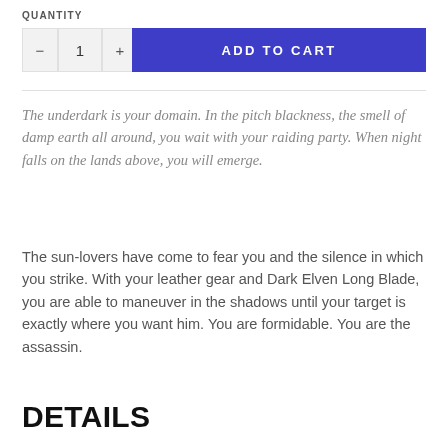QUANTITY
— 1 + ADD TO CART
The underdark is your domain. In the pitch blackness, the smell of damp earth all around, you wait with your raiding party. When night falls on the lands above, you will emerge.
The sun-lovers have come to fear you and the silence in which you strike. With your leather gear and Dark Elven Long Blade, you are able to maneuver in the shadows until your target is exactly where you want him. You are formidable. You are the assassin.
DETAILS